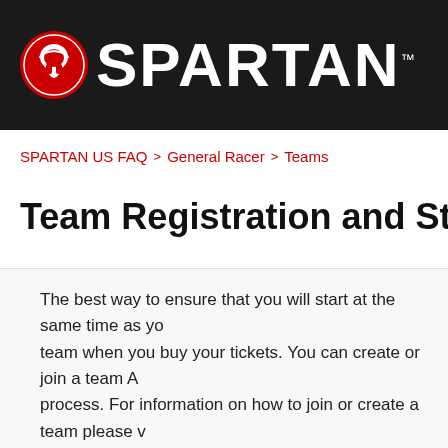[Figure (logo): Spartan Race logo with helmet icon and SPARTAN text on dark background]
SPARTAN US FAQ > General Racer > Teams
Team Registration and Start Times
The best way to ensure that you will start at the same time as yo... team when you buy your tickets. You can create or join a team A... process. For information on how to join or create a team please v...
Any racers that are registered as part of the same team...